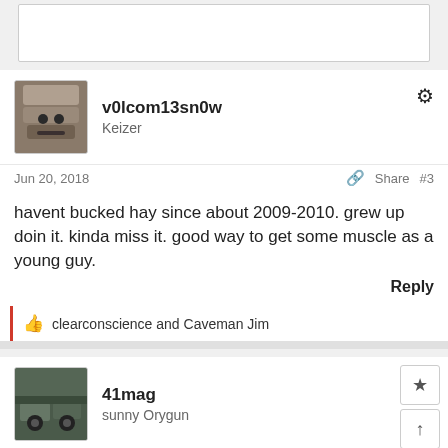[Figure (screenshot): Top partial white input/text box at the top of the page]
v0lcom13sn0w
Keizer
Jun 20, 2018  Share  #3
havent bucked hay since about 2009-2010. grew up doin it. kinda miss it. good way to get some muscle as a young guy.
Reply
clearconscience and Caveman Jim
41mag
sunny Orygun
Jun 20, 2018  Share  #4
DuneHopper said: